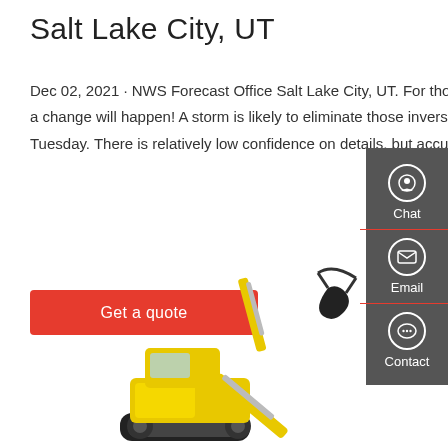Salt Lake City, UT
Dec 02, 2021 · NWS Forecast Office Salt Lake City, UT. For those wanting a change from dry conditions and valley inversions, a change will happen! A storm is likely to eliminate those inversions and bring both rain and snow into Utah late Monday into Tuesday. There is relatively low confidence on details, but accumulating mountain snow is likely, while rain
Get a quote
[Figure (other): Yellow mini excavator with black bucket attachment against white background]
[Figure (infographic): Dark sidebar with Chat (headset icon), Email (envelope icon), and Contact (speech bubble icon) options]